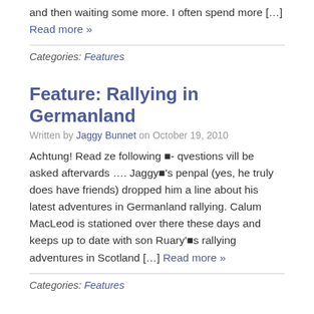and then waiting some more. I often spend more […] Read more »
Categories: Features
Feature: Rallying in Germanland
Written by Jaggy Bunnet on October 19, 2010
Achtung! Read ze following ■- qvestions vill be asked aftervards …. Jaggy■'s penpal (yes, he truly does have friends) dropped him a line about his latest adventures in Germanland rallying. Calum MacLeod is stationed over there these days and keeps up to date with son Ruary'■s rallying adventures in Scotland […] Read more »
Categories: Features